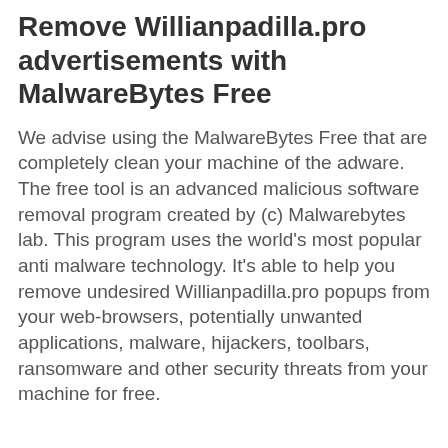Remove Willianpadilla.pro advertisements with MalwareBytes Free
We advise using the MalwareBytes Free that are completely clean your machine of the adware. The free tool is an advanced malicious software removal program created by (c) Malwarebytes lab. This program uses the world's most popular anti malware technology. It's able to help you remove undesired Willianpadilla.pro popups from your web-browsers, potentially unwanted applications, malware, hijackers, toolbars, ransomware and other security threats from your machine for free.